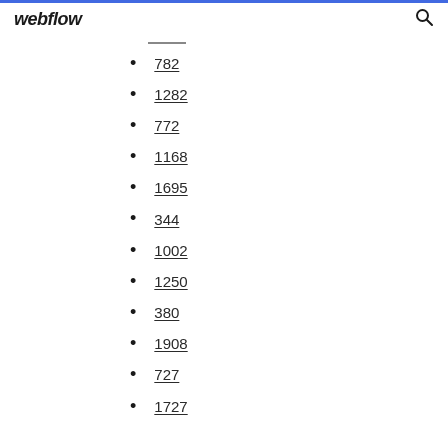webflow
782
1282
772
1168
1695
344
1002
1250
380
1908
727
1727